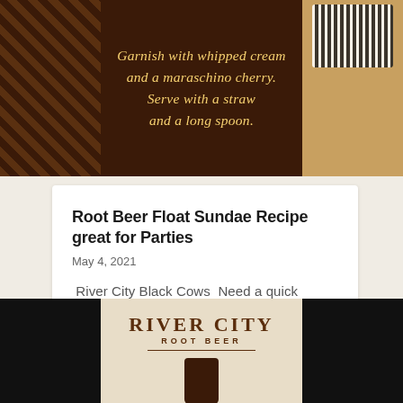[Figure (photo): Dark brown background recipe image showing italic text reading: 'Garnish with whipped cream and a maraschino cherry. Serve with a straw and a long spoon.' with zebra/tiger pattern elements on the sides.]
Root Beer Float Sundae Recipe great for Parties
May 4, 2021
River City Black Cows  Need a quick dessert for events or parties that everyone will love? These are perfect.  Fun & Easy! Ingredients 2 Scoops Vanilla Ice Cream 10 Oz River city Root Beer 1 Tablespoon Chocolate Syrup 1 1/2 Oz Whipped Cream Maraschino Cherries...
[Figure (photo): Bottom strip showing River City Root Beer branding on a tan/cream background, flanked by black panels on each side, with a can silhouette visible.]